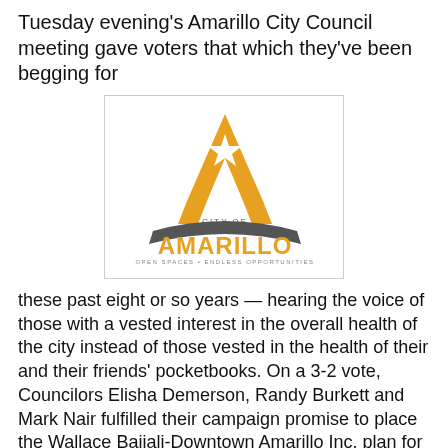Tuesday evening's Amarillo City Council meeting gave voters that which they've been begging for
[Figure (logo): City of Amarillo official logo: a gold letter A with a white star, dark arc beneath, 'CITY OF' in small gray text, 'AMARILLO' in large gold letters, 'OPEN SPACES • ENDLESS OPPORTUNITIES' tagline below]
these past eight or so years — hearing the voice of those with a vested interest in the overall health of the city instead of those vested in the health of their and their friends' pocketbooks. On a 3-2 vote, Councilors Elisha Demerson, Randy Burkett and Mark Nair fulfilled their campaign promise to place the Wallace Bajjali-Downtown Amarillo Inc. plan for a ballpark on a November ballot.
Bill Gilliland's and Laura Street's last-minute attempt to keep the question of building a ballpark away from people who are now seeing through the charade this entire downtown development fell short — as short as the fund-raising they did for the Glob News Center a decade ago. What is